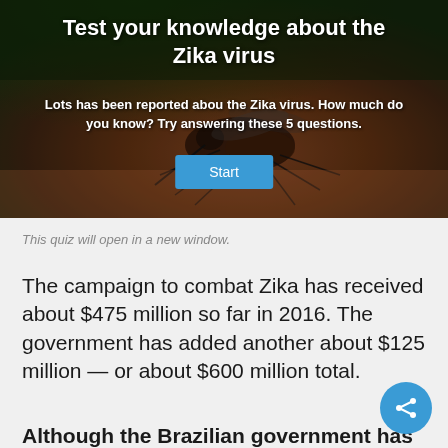[Figure (photo): Close-up photo of a mosquito on skin with dark green/brown background overlay]
Test your knowledge about the Zika virus
Lots has been reported abou the Zika virus. How much do you know? Try answering these 5 questions.
This quiz will open in a new window.
The campaign to combat Zika has received about $475 million so far in 2016. The government has added another about $125 million — or about $600 million total.
Although the Brazilian government has been